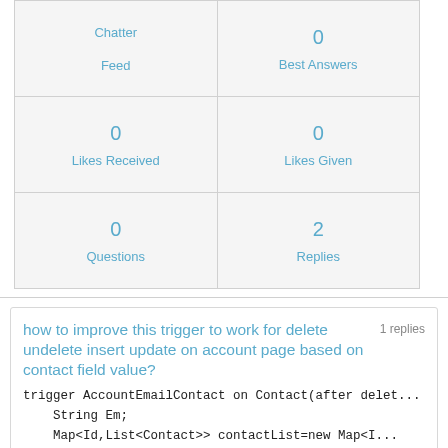| Chatter
Feed | 0
Best Answers |
| 0
Likes Received | 0
Likes Given |
| 0
Questions | 2
Replies |
how to improve this trigger to work for delete undelete insert update on account page based on contact field value?
1 replies
trigger AccountEmailContact on Contact(after delet...
    String Em;
    Map<Id,List<Contact>> contactList=new Map<I...